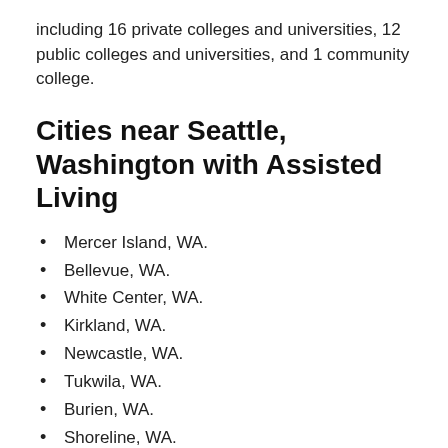including 16 private colleges and universities, 12 public colleges and universities, and 1 community college.
Cities near Seattle, Washington with Assisted Living
Mercer Island, WA.
Bellevue, WA.
White Center, WA.
Kirkland, WA.
Newcastle, WA.
Tukwila, WA.
Burien, WA.
Shoreline, WA.